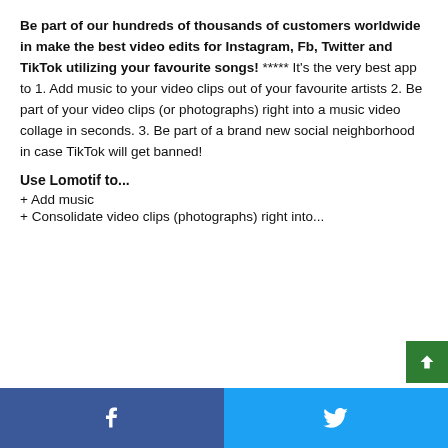Be part of our hundreds of thousands of customers worldwide in make the best video edits for Instagram, Fb, Twitter and TikTok utilizing your favourite songs! ***** It's the very best app to 1. Add music to your video clips out of your favourite artists 2. Be part of your video clips (or photographs) right into a music video collage in seconds. 3. Be part of a brand new social neighborhood in case TikTok will get banned!
Use Lomotif to...
+ Add music
+ Consolidate video clips (photographs) right into...